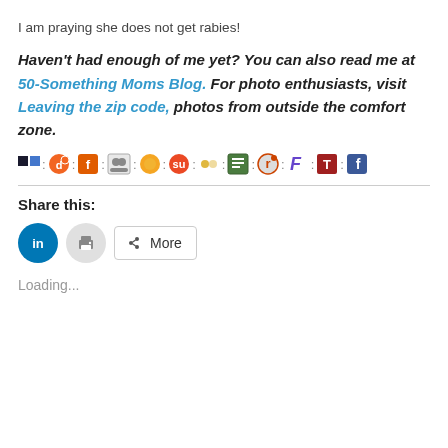I am praying she does not get rabies!
Haven't had enough of me yet? You can also read me at 50-Something Moms Blog. For photo enthusiasts, visit Leaving the zip code, photos from outside the comfort zone.
[Figure (infographic): Row of social media sharing icons separated by colons: del.icio.us, Digg, Furl, Windows contacts, Sun/Sphere, StumbleUpon, dots, Tipd, Reddit, F icon, Technorati, Facebook]
Share this:
[Figure (infographic): Share buttons: LinkedIn (blue circle with 'in'), Print (grey circle with printer icon), More button with share icon]
Loading...